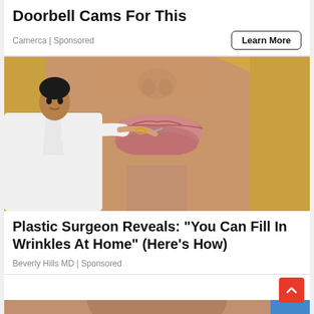Doorbell Cams For This
Camerca | Sponsored
[Figure (photo): A plastic surgeon pressing a needle at the corner of a woman's lips, with a close-up of the woman's lower face showing full lips and blonde hair.]
Plastic Surgeon Reveals: “You Can Fill In Wrinkles At Home” (Here’s How)
Beverly Hills MD | Sponsored